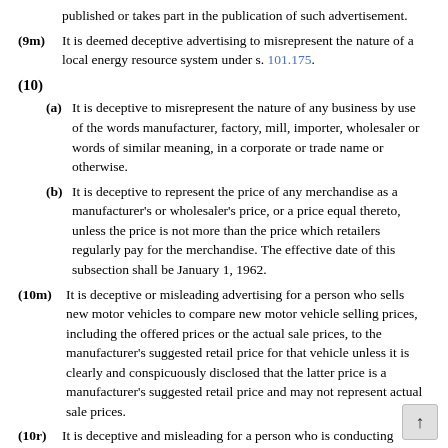published or takes part in the publication of such advertisement.
(9m) It is deemed deceptive advertising to misrepresent the nature of a local energy resource system under s. 101.175.
(10)
(a) It is deceptive to misrepresent the nature of any business by use of the words manufacturer, factory, mill, importer, wholesaler or words of similar meaning, in a corporate or trade name or otherwise.
(b) It is deceptive to represent the price of any merchandise as a manufacturer's or wholesaler's price, or a price equal thereto, unless the price is not more than the price which retailers regularly pay for the merchandise. The effective date of this subsection shall be January 1, 1962.
(10m) It is deceptive or misleading advertising for a person who sells new motor vehicles to compare new motor vehicle selling prices, including the offered prices or the actual sale prices, to the manufacturer's suggested retail price for that vehicle unless it is clearly and conspicuously disclosed that the latter price is a manufacturer's suggested retail price and may not represent actual sale prices.
(10r) It is deceptive and misleading for a person who is conducting business in a community or region from a location outside that community or region to use the name of the community or region, or the description of the community